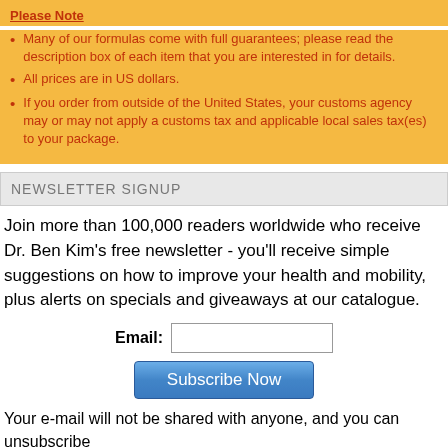Please Note
Many of our formulas come with full guarantees; please read the description box of each item that you are interested in for details.
All prices are in US dollars.
If you order from outside of the United States, your customs agency may or may not apply a customs tax and applicable local sales tax(es) to your package.
NEWSLETTER SIGNUP
Join more than 100,000 readers worldwide who receive Dr. Ben Kim's free newsletter - you'll receive simple suggestions on how to improve your health and mobility, plus alerts on specials and giveaways at our catalogue.
Email: [input field] Subscribe Now
Your e-mail will not be shared with anyone, and you can unsubscribe